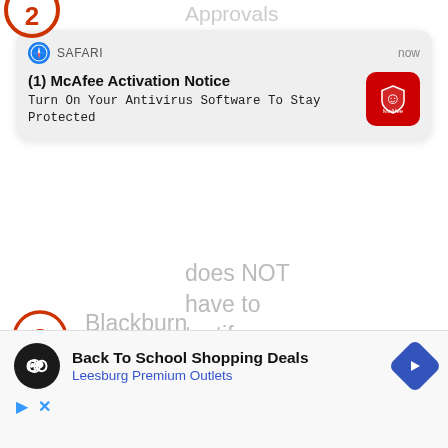[Figure (screenshot): Partial orange circle badge with number 2 at top left, and partial gray text 'Approvals' partially visible at top]
[Figure (screenshot): Safari browser notification card on gray background. Header shows Safari compass icon and 'SAFARI' label on left, 'now' on right. Body shows bold title '(1) McAfee Activation Notice' and subtitle 'Turn On Your Antivirus Software To Stay Protected'. McAfee red icon on right.]
does NOT have to testify Tuesday in GA
[Figure (infographic): Orange circle badge with number 3]
Blackburn says 'CABAL' at FBI...
[Figure (screenshot): Advertisement banner: black circle logo with infinity symbol, text 'Back To School Shopping Deals' in bold and 'Leesburg Premium Outlets' in blue, blue diamond arrow icon on right. Below: play triangle and X icons in blue.]